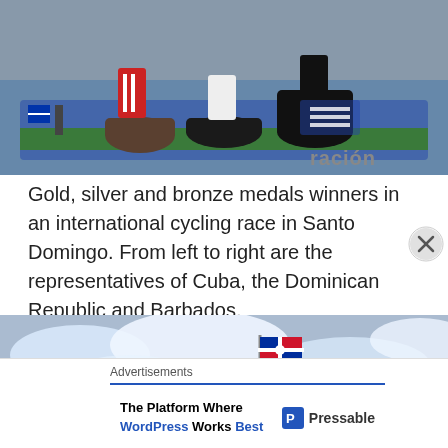[Figure (photo): Cropped photo showing feet and legs of three medal winners standing on a podium at an international cycling race in Santo Domingo. Partial text 'ración' visible on right side of image.]
Gold, silver and bronze medals winners in an international cycling race in Santo Domingo. From left to right are the representatives of Cuba, the Dominican Republic and Barbados.
[Figure (photo): Photo showing a flagpole with what appears to be the Dominican Republic flag flying against a cloudy sky. A low concrete wall and some green vegetation visible in the foreground.]
Advertisements
The Platform Where WordPress Works Best | Pressable